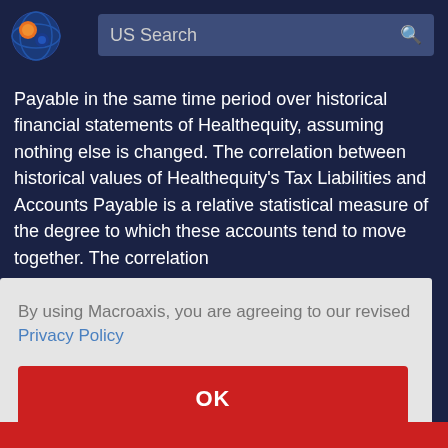[Figure (logo): Macroaxis globe logo with orange and blue colors]
US Search
Payable in the same time period over historical financial statements of Healthequity, assuming nothing else is changed. The correlation between historical values of Healthequity's Tax Liabilities and Accounts Payable is a relative statistical measure of the degree to which these accounts tend to move together. The correlation
ties
ts
ent
(0) is
he
By using Macroaxis, you are agreeing to our revised Privacy Policy
OK